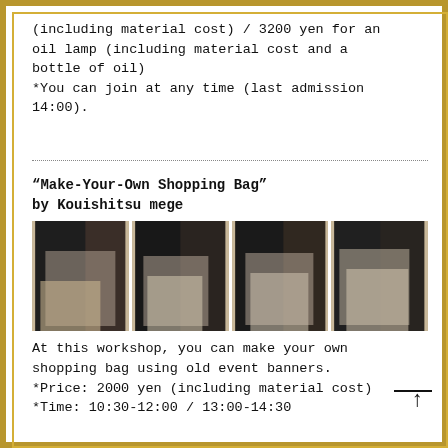(including material cost) / 3200 yen for an oil lamp (including material cost and a bottle of oil)
*You can join at any time (last admission 14:00).
…………………………………………………………………………………………………………………
“Make-Your-Own Shopping Bag”
by Kouishitsu mege
[Figure (photo): Four photos showing people holding handmade shopping bags made from old event banners. The bags are large tote-style bags with print designs, carried by people dressed in black.]
At this workshop, you can make your own shopping bag using old event banners.
*Price: 2000 yen (including material cost)
*Time: 10:30-12:00 / 13:00-14:30